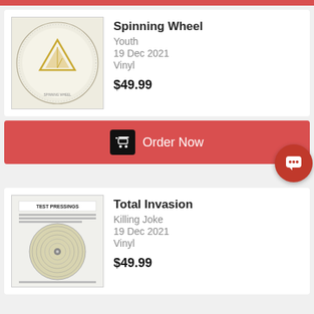[Figure (other): Red top navigation bar strip]
[Figure (photo): Album cover for Spinning Wheel by Youth – pale background with circular text border and triangle/pyramid symbol in gold]
Spinning Wheel
Youth
19 Dec 2021
Vinyl
$49.99
[Figure (other): Order Now button bar with shopping cart icon]
[Figure (other): Red circular chat/support button with speech bubble icon]
[Figure (photo): Album cover for Total Invasion by Killing Joke – white label test pressing with vinyl record visible]
Total Invasion
Killing Joke
19 Dec 2021
Vinyl
$49.99